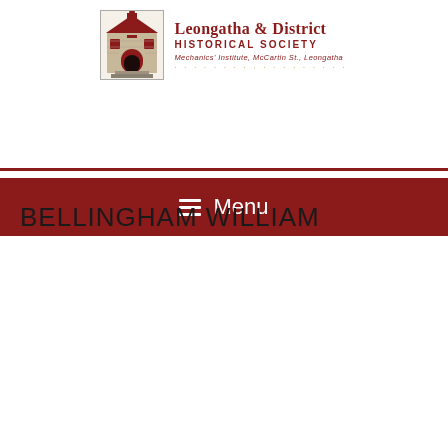[Figure (logo): Leongatha & District Historical Society logo showing a brick building with arched entrance]
Leongatha & District HISTORICAL SOCIETY Mechanics' Institute, McCartin St., Leongatha
≡ Menu
BELLINGHAM WILLIAM